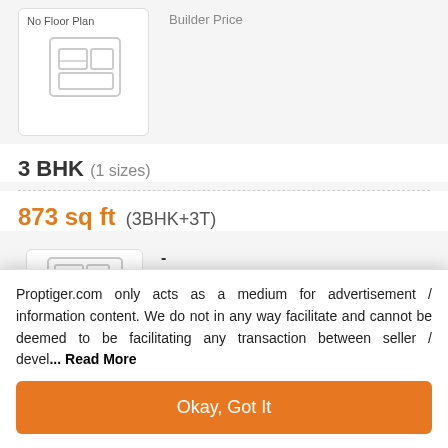[Figure (illustration): Floor plan placeholder box with 'No Floor Plan' label and a floor plan icon, alongside 'Builder Price' label]
3 BHK (1 sizes)
873 sq ft (3BHK+3T)
[Figure (illustration): Partial floor plan placeholder box with '-' and 'Builder Price' label]
Proptiger.com only acts as a medium for advertisement / information content. We do not in any way facilitate and cannot be deemed to be facilitating any transaction between seller / devel... Read More
Okay, Got It